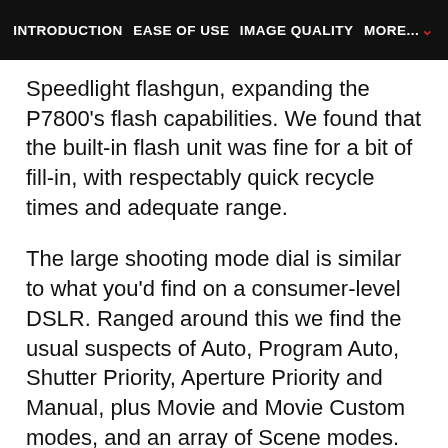INTRODUCTION | EASE OF USE | IMAGE QUALITY | MORE...
Speedlight flashgun, expanding the P7800's flash capabilities. We found that the built-in flash unit was fine for a bit of fill-in, with respectably quick recycle times and adequate range.
The large shooting mode dial is similar to what you'd find on a consumer-level DSLR. Ranged around this we find the usual suspects of Auto, Program Auto, Shutter Priority, Aperture Priority and Manual, plus Movie and Movie Custom modes, and an array of Scene modes. The Effects mode offers a variety of 10 creative options, including a mechanically controlled Zoom